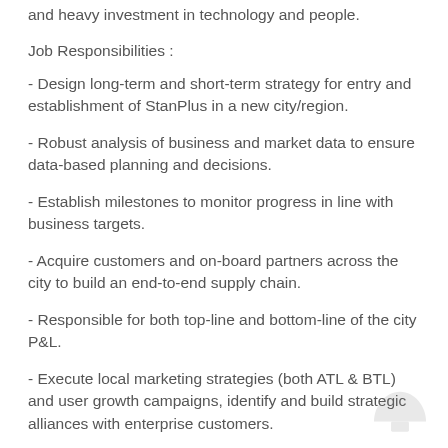and heavy investment in technology and people.
Job Responsibilities :
- Design long-term and short-term strategy for entry and establishment of StanPlus in a new city/region.
- Robust analysis of business and market data to ensure data-based planning and decisions.
- Establish milestones to monitor progress in line with business targets.
- Acquire customers and on-board partners across the city to build an end-to-end supply chain.
- Responsible for both top-line and bottom-line of the city P&L.
- Execute local marketing strategies (both ATL & BTL) and user growth campaigns, identify and build strategic alliances with enterprise customers.